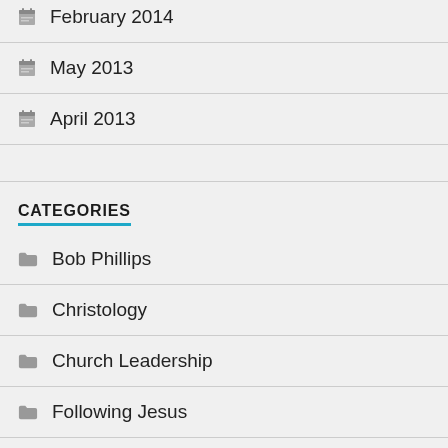February 2014
May 2013
April 2013
CATEGORIES
Bob Phillips
Christology
Church Leadership
Following Jesus
General Conference